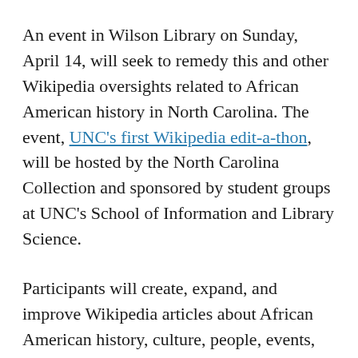An event in Wilson Library on Sunday, April 14, will seek to remedy this and other Wikipedia oversights related to African American history in North Carolina. The event, UNC's first Wikipedia edit-a-thon, will be hosted by the North Carolina Collection and sponsored by student groups at UNC's School of Information and Library Science.
Participants will create, expand, and improve Wikipedia articles about African American history, culture, people, events, and institutions in North Carolina. No special topical knowledge or Wikipedia experience is needed. Bring a laptop and we'll help you do